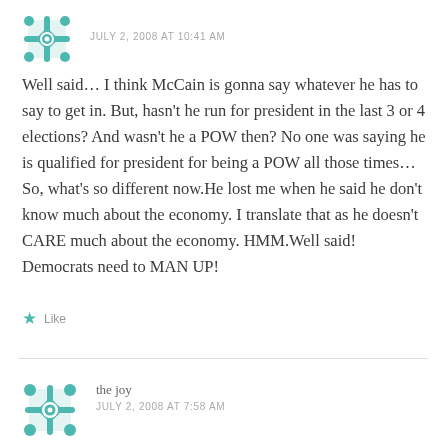JULY 2, 2008 AT 10:41 AM
Well said… I think McCain is gonna say whatever he has to say to get in. But, hasn't he run for president in the last 3 or 4 elections? And wasn't he a POW then? No one was saying he is qualified for president for being a POW all those times… So, what's so different now.He lost me when he said he don't know much about the economy. I translate that as he doesn't CARE much about the economy. HMM.Well said! Democrats need to MAN UP!
Like
the joy
JULY 2, 2008 AT 7:58 AM